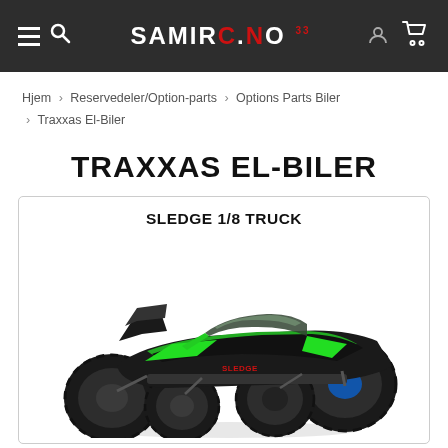SAMIRC.NO — Navigation bar with hamburger menu, search, logo, user icon, and cart
Hjem > Reservedeler/Option-parts > Options Parts Biler > Traxxas El-Biler
TRAXXAS EL-BILER
SLEDGE 1/8 TRUCK
[Figure (photo): Photo of a Traxxas Sledge 1/8 scale electric RC monster truck in black and green colorway, shown at a three-quarter front angle on a white background]